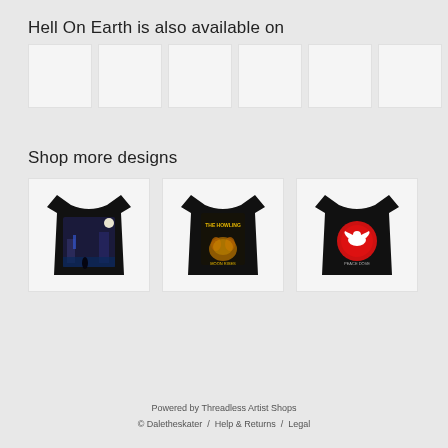Hell On Earth is also available on
[Figure (photo): Row of 6 white placeholder thumbnail boxes]
Shop more designs
[Figure (photo): Black t-shirt with blue night scene graphic]
[Figure (photo): Black t-shirt with yellow The Howling graphic]
[Figure (photo): Black t-shirt with red circle and white bird graphic]
Powered by Threadless Artist Shops
© Daletheskater  /  Help & Returns  /  Legal